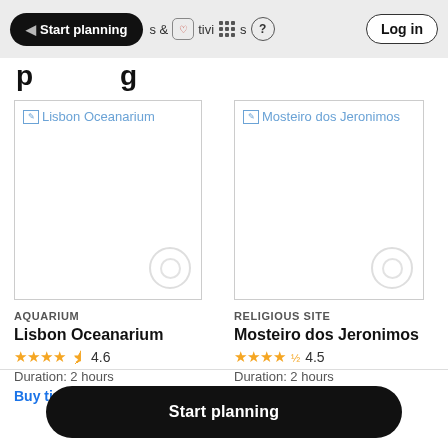Start planning  Activities  ?  Log in
p...g
[Figure (screenshot): Lisbon Oceanarium broken image placeholder]
AQUARIUM
Lisbon Oceanarium
4.6  Duration: 2 hours
Buy tickets from $20 ›
[Figure (screenshot): Mosteiro dos Jeronimos broken image placeholder]
RELIGIOUS SITE
Mosteiro dos Jeronimos
4.5  Duration: 2 hours
Start planning